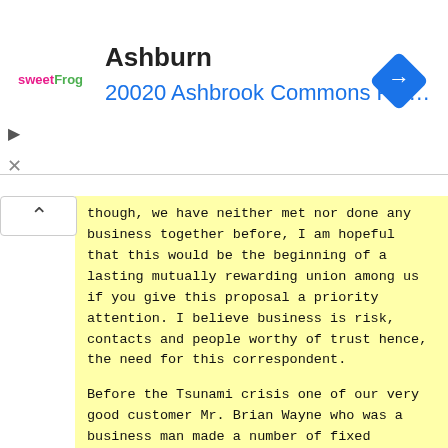Ashburn
20020 Ashbrook Commons Pla…
though, we have neither met nor done any business together before, I am hopeful that this would be the beginning of a lasting mutually rewarding union among us if you give this proposal a priority attention. I believe business is risk, contacts and people worthy of trust hence, the need for this correspondent.
Before the Tsunami crisis one of our very good customer Mr. Brian Wayne who was a business man made a number of fixed deposit with us with a total value of Sixty Two millions Seven Hundred Thousand United State Dollars